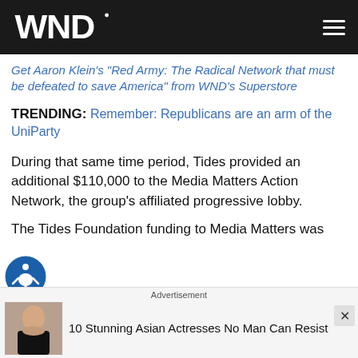WND
Get Aaron Klein's "Red Army: The Radical Network that must be defeated to save America" from WND's Superstore
TRENDING: Remember: Republicans are an arm of the UniParty
During that same time period, Tides provided an additional $110,000 to the Media Matters Action Network, the group's affiliated progressive lobby.
The Tides Foundation funding to Media Matters was
Advertisement
10 Stunning Asian Actresses No Man Can Resist